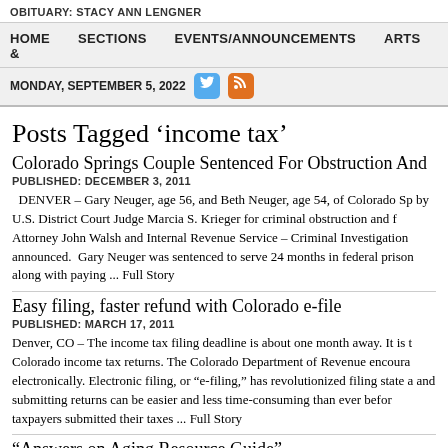OBITUARY: STACY ANN LENGNER
HOME   SECTIONS   EVENTS/ANNOUNCEMENTS   ARTS &
MONDAY, SEPTEMBER 5, 2022
Posts Tagged ‘income tax’
Colorado Springs Couple Sentenced For Obstruction And
PUBLISHED: DECEMBER 3, 2011
DENVER – Gary Neuger, age 56, and Beth Neuger, age 54, of Colorado Sp by U.S. District Court Judge Marcia S. Krieger for criminal obstruction and f Attorney John Walsh and Internal Revenue Service – Criminal Investigation announced. Gary Neuger was sentenced to serve 24 months in federal prison along with paying ... Full Story
Easy filing, faster refund with Colorado e-file
PUBLISHED: MARCH 17, 2011
Denver, CO – The income tax filing deadline is about one month away. It is t Colorado income tax returns. The Colorado Department of Revenue encoura electronically. Electronic filing, or “e-filing,” has revolutionized filing state a and submitting returns can be easier and less time-consuming than ever befor taxpayers submitted their taxes ... Full Story
“Answers on Aging Resource Guide”